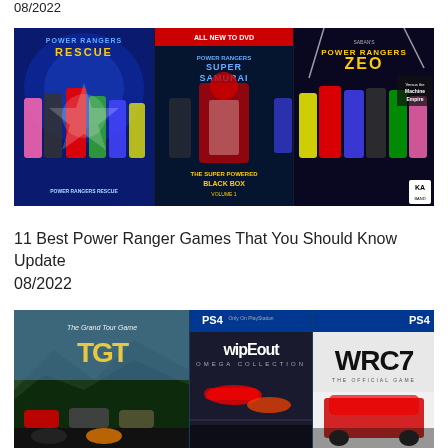08/2022
[Figure (photo): Three Power Rangers DVD/game covers: Power Rangers Rescue (left), Power Rangers Super Samurai - The Super Powered Black Box Volume 1 (center), Power Rangers Zeo Versus the Machine Empire (right)]
11 Best Power Ranger Games That You Should Know Update 08/2022
[Figure (photo): Three racing game covers: The Grand Tour Game TGT (left), WipEout Omega Collection on PS4 (center), WRC 7 The Official Game on PS4 (right)]